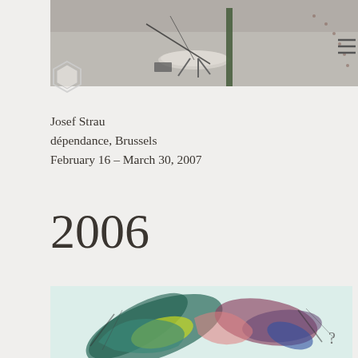[Figure (photo): Top photo showing an interior space with cables, a stand/tripod, and dotted pattern visible on right side]
Josef Strau
dépendance, Brussels
February 16 – March 30, 2007
2006
[Figure (photo): Abstract colorful artwork with swirling brushstrokes in teal, yellow, pink, purple against a light blue-white background, with a question mark visible at bottom right]